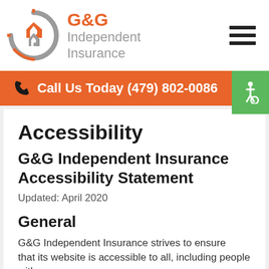[Figure (logo): G&G Independent Insurance logo — orange and grey interlocking G shapes in a circle, with orange text 'G&G' and grey text 'Independent Insurance']
Call Us Today (479) 802-0086
Accessibility
G&G Independent Insurance Accessibility Statement
Updated: April 2020
General
G&G Independent Insurance strives to ensure that its website is accessible to all, including people with